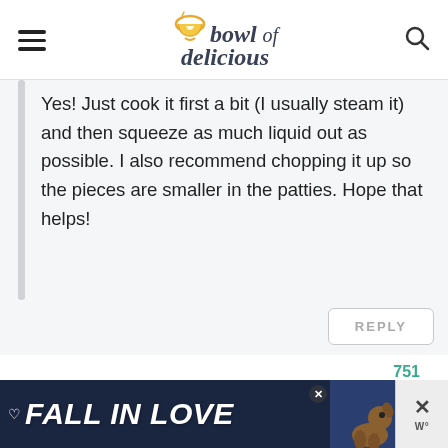bowl of delicious
Yes! Just cook it first a bit (I usually steam it) and then squeeze as much liquid out as possible. I also recommend chopping it up so the pieces are smaller in the patties. Hope that helps!
REPLY
751
[Figure (infographic): FALL IN LOVE advertisement banner with dog image and close button]
[Figure (other): Close/dismiss button with X and w logo]